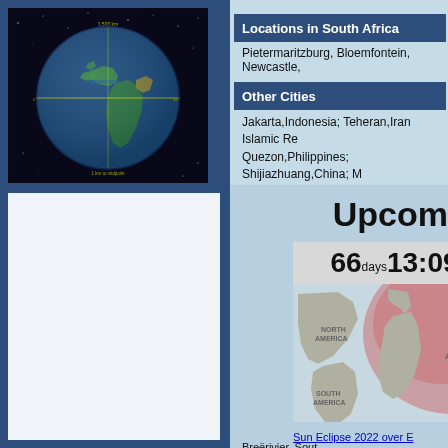[Figure (illustration): Globe/Earth view from space showing Europe, Africa, Atlantic. Dark background with stars. Yellow lines indicating some measurement or path across globe.]
Locations in South Africa
Pietermaritzburg, Bloemfontein, Newcastle,
Other Cities
Jakarta,Indonesia; Teheran,Iran Islamic Re Quezon,Philippines; Shijiazhuang,China; M
Upcom
[Figure (map): World map showing eclipse path over Earth. Large red/pink shaded area covering North America and parts of Atlantic. Text shows 66days 13:09 countdown. Labels: NORTH AMERICA, SOUTH AMERICA, AFRICA]
Sun Eclipse 2022 over E
Breërivier, Sout Th